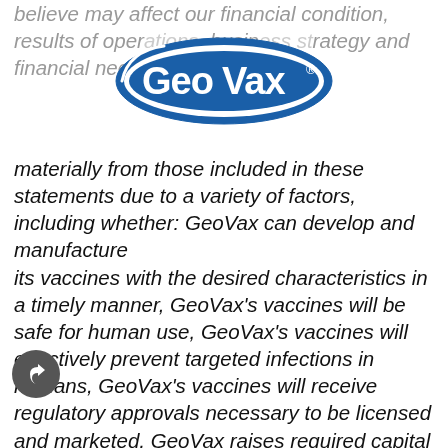believe may affect our financial condition, results of operations, business strategy and financial needs.
[Figure (logo): GeoVax logo — blue oval with white GeoVax text and registered trademark symbol]
materially from those included in these statements due to a variety of factors, including whether: GeoVax can develop and manufacture its vaccines with the desired characteristics in a timely manner, GeoVax's vaccines will be safe for human use, GeoVax's vaccines will effectively prevent targeted infections in humans, GeoVax's vaccines will receive regulatory approvals necessary to be licensed and marketed, GeoVax raises required capital to complete vaccine development, there is development of competitive products that may be more effective or easier to use than GeoVax's products, GeoVax will be able to enter into favorable manufacturing and distribution